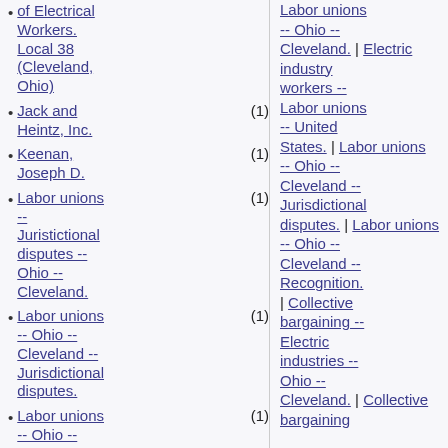of Electrical Workers. Local 38 (Cleveland, Ohio)
Jack and Heintz, Inc. (1)
Keenan, Joseph D. (1)
Labor unions -- Juristictional disputes -- Ohio -- Cleveland. (1)
Labor unions -- Ohio -- Cleveland -- Jurisdictional disputes. (1)
Labor unions -- Ohio -- Cleveland -- Recognition. (1)
Labor unions -- Ohio -- Cleveland. | Electric industry workers -- Labor unions -- United States. | Labor unions -- Ohio -- Cleveland -- Jurisdictional disputes. | Labor unions -- Ohio -- Cleveland -- Recognition. | Collective bargaining -- Electric industries -- Ohio -- Cleveland. | Collective bargaining --